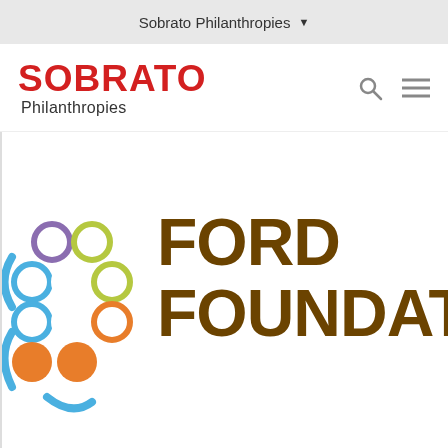Sobrato Philanthropies
[Figure (logo): Sobrato Philanthropies logo with red bold SOBRATO text and Philanthropies subtitle, with search and menu icons]
[Figure (logo): Ford Foundation logo with colorful circular pattern icon and FORD FOUNDATION text in dark brown]